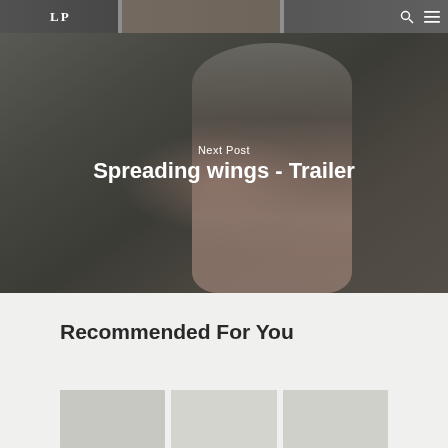LP
[Figure (photo): Website header with dark overlay showing partial fashion/lifestyle photos. Logo 'LP' on left, search and menu icons on right.]
[Figure (photo): Hero image of a woman in a flowing pleated pink/blush wide-sleeve dress, arms outstretched, against a concrete wall background. Dark overlay on image.]
Next Post
Spreading wings - Trailer
Recommended For You
[Figure (photo): Partially visible thumbnail images at bottom of page for recommended posts]